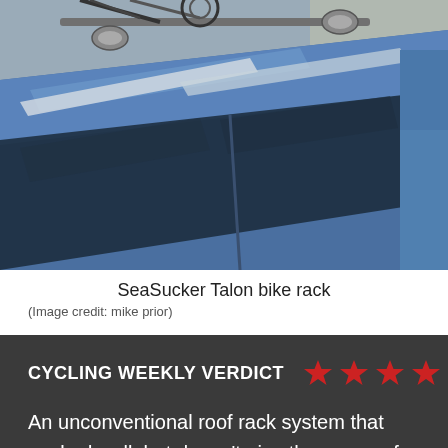[Figure (photo): Overhead view of a blue car with a SeaSucker Talon bike rack mounted on the roof using suction cups, with a bicycle frame visible on top.]
SeaSucker Talon bike rack
(Image credit: mike prior)
CYCLING WEEKLY VERDICT ★★★★½
An unconventional roof rack system that worked well, but doesn't give the peace of mind of traditional nuts and bolts